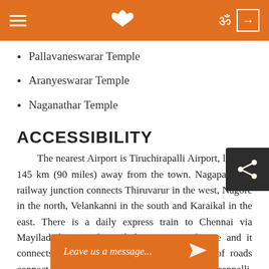Navigation bar with hamburger menu, lotus logo, Om symbol and login button
Pallavaneswarar Temple
Aranyeswarar Temple
Naganathar Temple
ACCESSIBILITY
The nearest Airport is Tiruchirapalli Airport, located 145 km (90 miles) away from the town. Nagapattinam railway junction connects Thiruvarur in the west, Nagore in the north, Velankanni in the south and Karaikal in the east. There is a daily express train to Chennai via Mayiladuthurai and Ernakulam via Coimbatore and it connects all major cities. Extensive network of roads connect it to Chennai, Madurai, Tiruchirappalli, Pondicherry, Thanjavur and all other major cities. Nagapattinam is located at a distance of about 330kms from Ch...